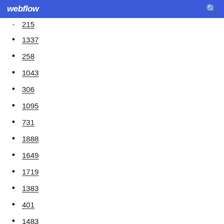webflow
215
1337
258
1043
306
1095
731
1888
1649
1719
1383
401
1483